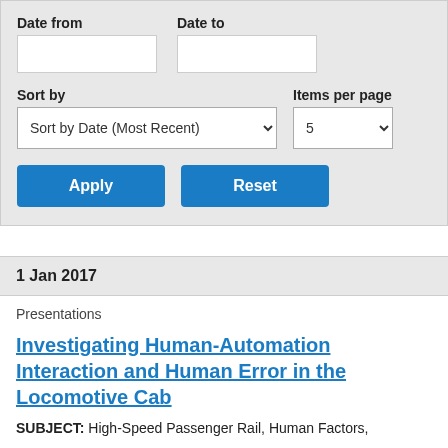Date from
Date to
Sort by
Items per page
Sort by Date (Most Recent)
5
Apply
Reset
1 Jan 2017
Presentations
Investigating Human-Automation Interaction and Human Error in the Locomotive Cab
SUBJECT: High-Speed Passenger Rail, Human Factors, Artificial Intelligence, Automation